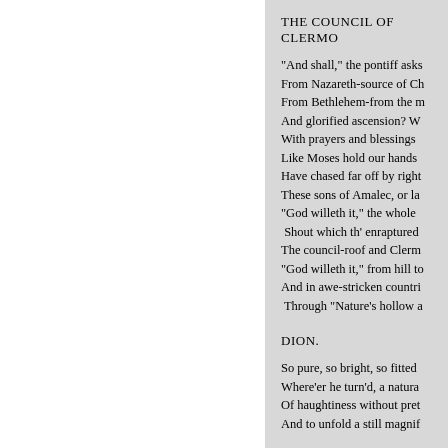THE COUNCIL OF CLERMO
"And shall," the pontiff asks
From Nazareth-source of Ch
From Bethlehem-from the m
And glorified ascension? W
With prayers and blessings 
Like Moses hold our hands 
Have chased far off by right
These sons of Amalec, or la
"God willeth it," the whole 
 Shout which th' enraptured
The council-roof and Clerm
"God willeth it," from hill to
And in awe-stricken countri
 Through "Nature's hollow a
DION.
So pure, so bright, so fitted 
Where'er he turn'd, a natura
Of haughtiness without pret
And to unfold a still magnif